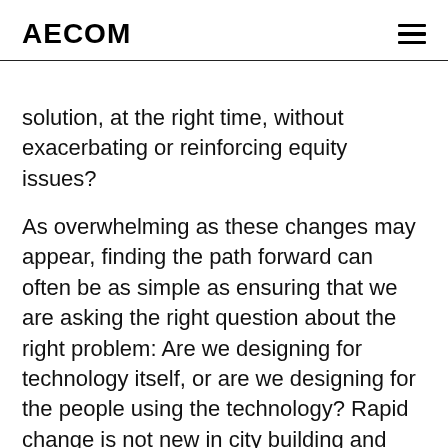AECOM
solution, at the right time, without exacerbating or reinforcing equity issues?
As overwhelming as these changes may appear, finding the path forward can often be as simple as ensuring that we are asking the right question about the right problem: Are we designing for technology itself, or are we designing for the people using the technology? Rapid change is not new in city building and there are clear examples in the past where we have erred and where we have succeeded in adapting to it. In designing cities around the automobile instead of